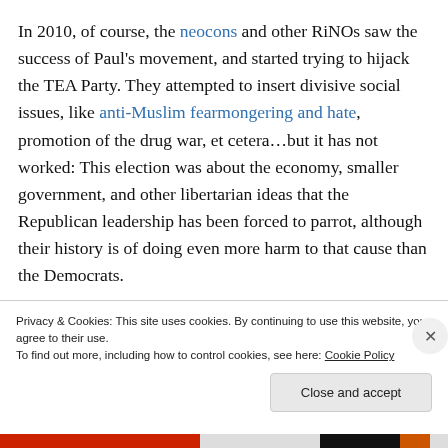In 2010, of course, the neocons and other RiNOs saw the success of Paul's movement, and started trying to hijack the TEA Party. They attempted to insert divisive social issues, like anti-Muslim fearmongering and hate, promotion of the drug war, et cetera…but it has not worked: This election was about the economy, smaller government, and other libertarian ideas that the Republican leadership has been forced to parrot, although their history is of doing even more harm to that cause than the Democrats.
Privacy & Cookies: This site uses cookies. By continuing to use this website, you agree to their use.
To find out more, including how to control cookies, see here: Cookie Policy
Close and accept